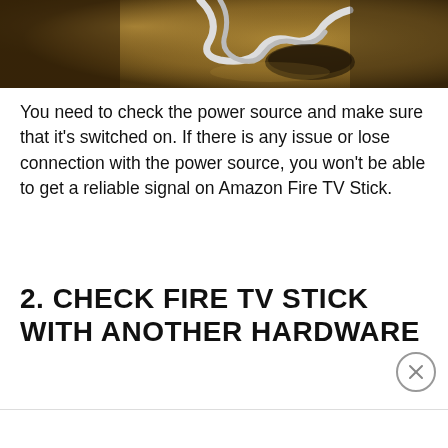[Figure (photo): Close-up photo of power cables/cords on a warm brown/amber surface, suggesting a power adapter or charging setup in dim lighting]
You need to check the power source and make sure that it's switched on. If there is any issue or lose connection with the power source, you won't be able to get a reliable signal on Amazon Fire TV Stick.
2. CHECK FIRE TV STICK WITH ANOTHER HARDWARE